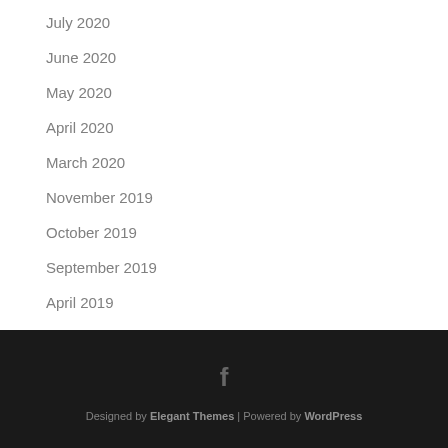July 2020
June 2020
May 2020
April 2020
March 2020
November 2019
October 2019
September 2019
April 2019
Designed by Elegant Themes | Powered by WordPress